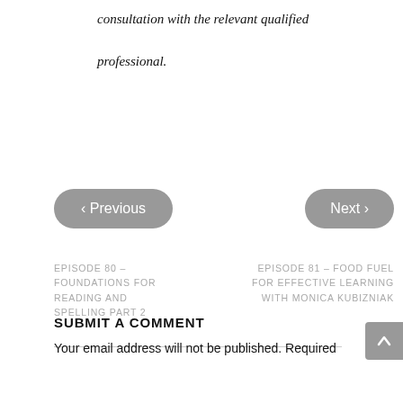consultation with the relevant qualified professional.
‹ Previous
Next ›
EPISODE 80 – FOUNDATIONS FOR READING AND SPELLING PART 2
EPISODE 81 – FOOD FUEL FOR EFFECTIVE LEARNING WITH MONICA KUBIZNIAK
SUBMIT A COMMENT
Your email address will not be published. Required